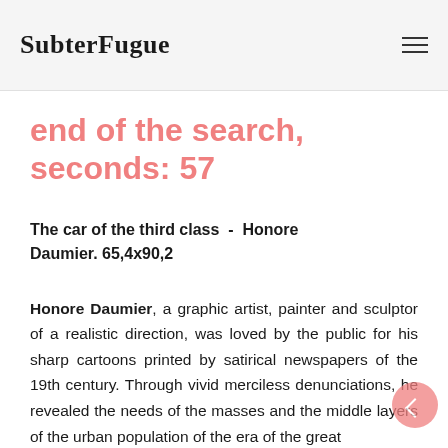SubterFugue
end of the search, seconds: 57
The car of the third class - Honore Daumier. 65,4x90,2
Honore Daumier, a graphic artist, painter and sculptor of a realistic direction, was loved by the public for his sharp cartoons printed by satirical newspapers of the 19th century. Through vivid merciless denunciations, he revealed the needs of the masses and the middle layers of the urban population of the era of the great